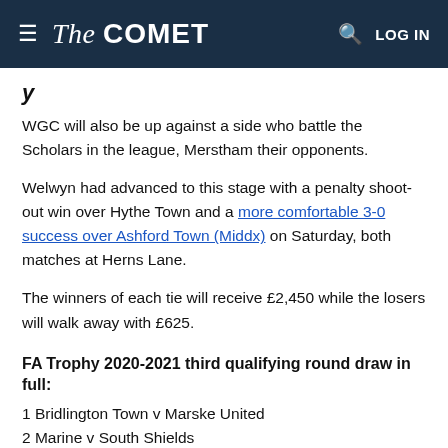The COMET
WGC will also be up against a side who battle the Scholars in the league, Merstham their opponents.
Welwyn had advanced to this stage with a penalty shoot-out win over Hythe Town and a more comfortable 3-0 success over Ashford Town (Middx) on Saturday, both matches at Herns Lane.
The winners of each tie will receive £2,450 while the losers will walk away with £625.
FA Trophy 2020-2021 third qualifying round draw in full:
1 Bridlington Town v Marske United
2 Marine v South Shields